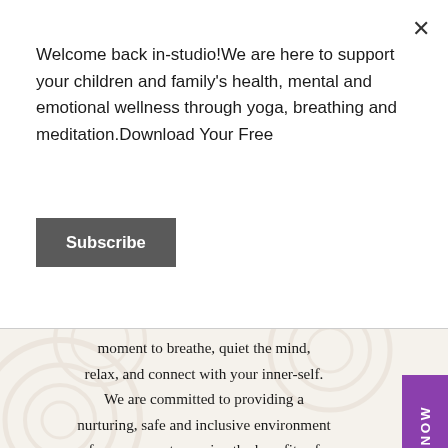Welcome back in-studio!We are here to support your children and family's health, mental and emotional wellness through yoga, breathing and meditation.Download Your Free
Subscribe
moment to breathe, quiet the mind, relax, and connect with your inner-self. We are committed to providing a nurturing, safe and inclusive environment for everyone to receive the benefits of yoga. We promote healthy lifestyles, inward focus, and alignment of mind body and soul. All levels and ages are welcome, from beginning to advanced yogis.